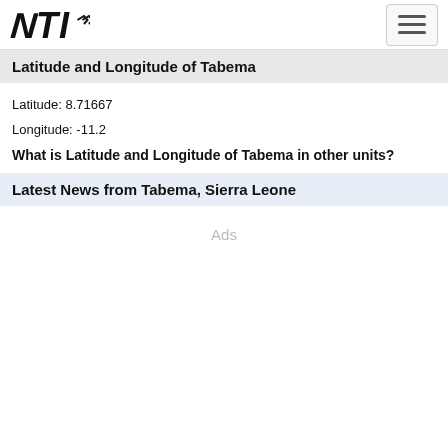NTI logo and navigation
Latitude and Longitude of Tabema
Latitude: 8.71667
Longitude: -11.2
What is Latitude and Longitude of Tabema in other units?
Latest News from Tabema, Sierra Leone
Ads